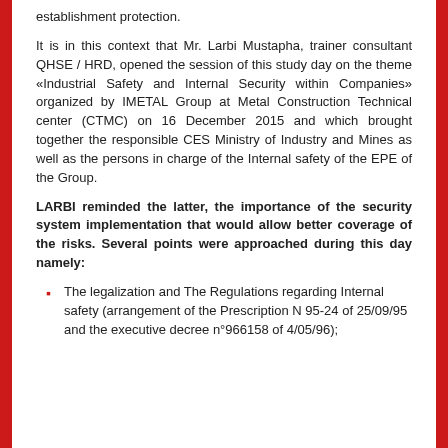establishment protection.
It is in this context that Mr. Larbi Mustapha, trainer consultant QHSE / HRD, opened the session of this study day on the theme «Industrial Safety and Internal Security within Companies» organized by IMETAL Group at Metal Construction Technical center (CTMC) on 16 December 2015 and which brought together the responsible CES Ministry of Industry and Mines as well as the persons in charge of the Internal safety of the EPE of the Group.
LARBI reminded the latter, the importance of the security system implementation that would allow better coverage of the risks. Several points were approached during this day namely:
The legalization and The Regulations regarding Internal safety (arrangement of the Prescription N 95-24 of 25/09/95 and the executive decree n°966158 of 4/05/96);